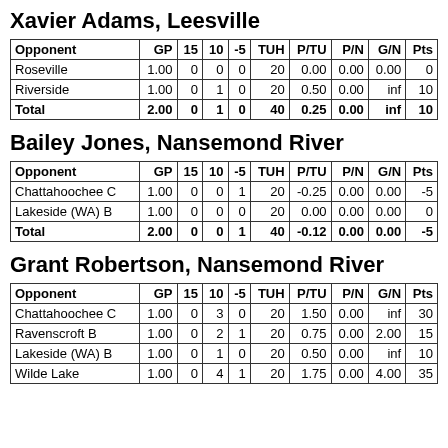Xavier Adams, Leesville
| Opponent | GP | 15 | 10 | -5 | TUH | P/TU | P/N | G/N | Pts |
| --- | --- | --- | --- | --- | --- | --- | --- | --- | --- |
| Roseville | 1.00 | 0 | 0 | 0 | 20 | 0.00 | 0.00 | 0.00 | 0 |
| Riverside | 1.00 | 0 | 1 | 0 | 20 | 0.50 | 0.00 | inf | 10 |
| Total | 2.00 | 0 | 1 | 0 | 40 | 0.25 | 0.00 | inf | 10 |
Bailey Jones, Nansemond River
| Opponent | GP | 15 | 10 | -5 | TUH | P/TU | P/N | G/N | Pts |
| --- | --- | --- | --- | --- | --- | --- | --- | --- | --- |
| Chattahoochee C | 1.00 | 0 | 0 | 1 | 20 | -0.25 | 0.00 | 0.00 | -5 |
| Lakeside (WA) B | 1.00 | 0 | 0 | 0 | 20 | 0.00 | 0.00 | 0.00 | 0 |
| Total | 2.00 | 0 | 0 | 1 | 40 | -0.12 | 0.00 | 0.00 | -5 |
Grant Robertson, Nansemond River
| Opponent | GP | 15 | 10 | -5 | TUH | P/TU | P/N | G/N | Pts |
| --- | --- | --- | --- | --- | --- | --- | --- | --- | --- |
| Chattahoochee C | 1.00 | 0 | 3 | 0 | 20 | 1.50 | 0.00 | inf | 30 |
| Ravenscroft B | 1.00 | 0 | 2 | 1 | 20 | 0.75 | 0.00 | 2.00 | 15 |
| Lakeside (WA) B | 1.00 | 0 | 1 | 0 | 20 | 0.50 | 0.00 | inf | 10 |
| Wilde Lake | 1.00 | 0 | 4 | 1 | 20 | 1.75 | 0.00 | 4.00 | 35 |